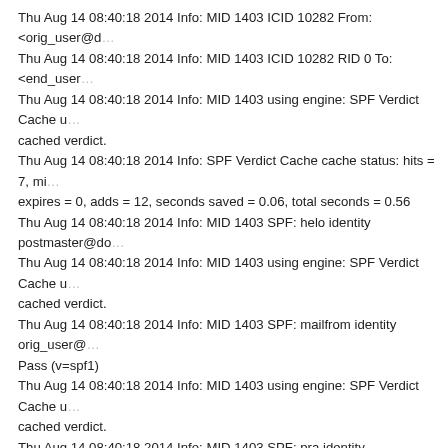Thu Aug 14 08:40:18 2014 Info: MID 1403 ICID 10282 From: <orig_user@d...
Thu Aug 14 08:40:18 2014 Info: MID 1403 ICID 10282 RID 0 To: <end_user@...
Thu Aug 14 08:40:18 2014 Info: MID 1403 using engine: SPF Verdict Cache u... cached verdict
Thu Aug 14 08:40:18 2014 Info: SPF Verdict Cache cache status: hits = 7, mis... expires = 0, adds = 12, seconds saved = 0.06, total seconds = 0.56
Thu Aug 14 08:40:18 2014 Info: MID 1403 SPF: helo identity postmaster@do...
Thu Aug 14 08:40:18 2014 Info: MID 1403 using engine: SPF Verdict Cache u... cached verdict
Thu Aug 14 08:40:18 2014 Info: MID 1403 SPF: mailfrom identity orig_user@... Pass (v=spf1)
Thu Aug 14 08:40:18 2014 Info: MID 1403 using engine: SPF Verdict Cache u... cached verdict
Thu Aug 14 08:40:18 2014 Info: MID 1403 SPF: pra identity orig_user@doma... headers from
Thu Aug 14 08:40:18 2014 Info: MID 1403 Message-ID '<2014081412410...
Thu Aug 14 08:40:18 2014 Info: MID 1403 Subject 'Hello – this is the morning...
Thu Aug 14 08:40:18 2014 Info: MID 1403 ready 611 bytes from <orig_user...
Thu Aug 14 08:40:18 2014 Info: MID 1403 matched all recipients for per-reci... DEFAULT in the outbound table